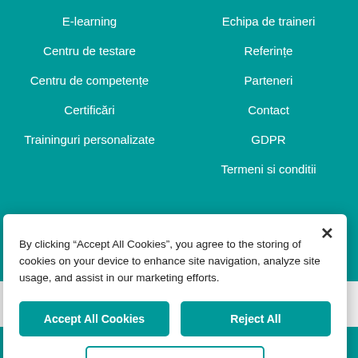E-learning
Echipa de traineri
Centru de testare
Referințe
Centru de competențe
Parteneri
Certificări
Contact
Traininguri personalizate
GDPR
Termeni si conditii
ABONARE LA NEWSLETTER - ACORD DE TRIMITERE
By clicking "Accept All Cookies", you agree to the storing of cookies on your device to enhance site navigation, analyze site usage, and assist in our marketing efforts.
Accept All Cookies
Reject All
Customize Settings